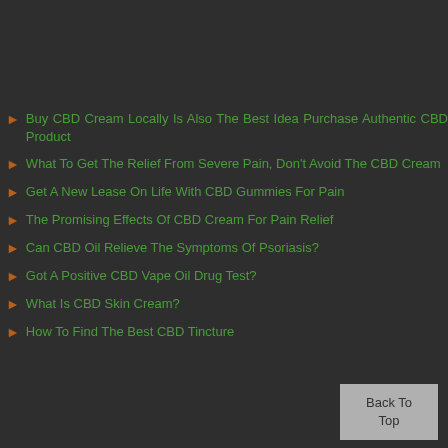Buy CBD Cream Locally Is Also The Best Idea Purchase Authentic CBD Product
What To Get The Relief From Severe Pain, Don't Avoid The CBD Cream
Get A New Lease On Life With CBD Gummies For Pain
The Promising Effects Of CBD Cream For Pain Relief
Can CBD Oil Relieve The Symptoms Of Psoriasis?
Got A Positive CBD Vape Oil Drug Test?
What Is CBD Skin Cream?
How To Find The Best CBD Tincture
Back To Top